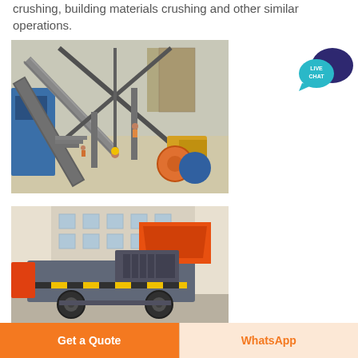crushing, building materials crushing and other similar operations.
[Figure (photo): Industrial crushing plant with conveyor belts, machinery and workers on site]
[Figure (photo): Mobile jaw crusher machine with orange and grey body mounted on wheels]
[Figure (other): Live Chat button with speech bubble icon]
Get a Quote
WhatsApp